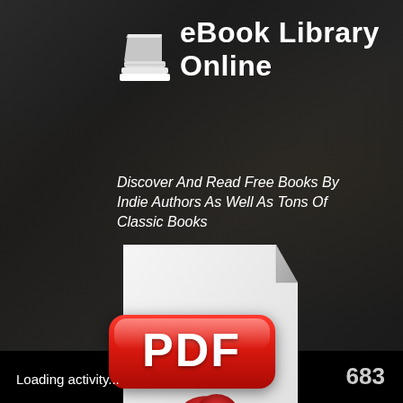eBook Library Online
Discover And Read Free Books By Indie Authors As Well As Tons Of Classic Books
[Figure (illustration): A PDF file icon: white document page with folded top-right corner and a red Adobe Acrobat logo/swoosh at the bottom, overlaid with a large red rounded-rectangle button labeled PDF in white bold text]
Loading activity...
683